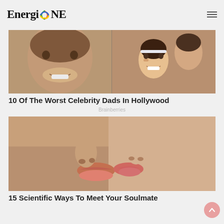Energi ONE
[Figure (photo): Two-panel photo: left shows a smiling man (Tom Cruise), right shows a young girl smiling with a woman in background]
10 Of The Worst Celebrity Dads In Hollywood
Brainberries
[Figure (photo): Close-up photo of two people kissing, faces nearly touching, lips almost meeting]
15 Scientific Ways To Meet Your Soulmate